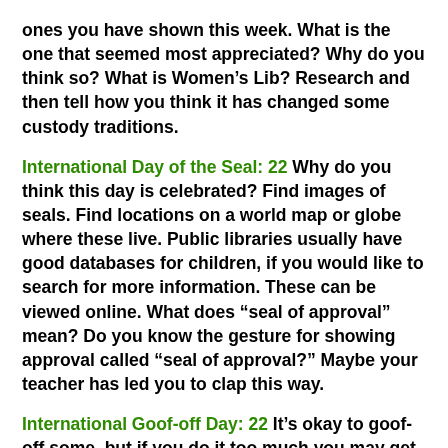ones you have shown this week.  What is the one that seemed most appreciated?  Why do you think so?  What is Women's Lib?  Research and then tell how you think it has changed some custody traditions.
International Day of the Seal:  22  Why do you think this day is celebrated?  Find images of seals.  Find locations on a world map or globe where these live.  Public libraries usually have good databases for children, if you would like to search for more information.  These can be viewed online.  What does “seal of approval” mean?  Do you know the gesture for showing approval called “seal of approval?”  Maybe your teacher has led you to clap this way.
International Goof-off Day:  22  It’s okay to goof-off some, but if you do it too much you may get the